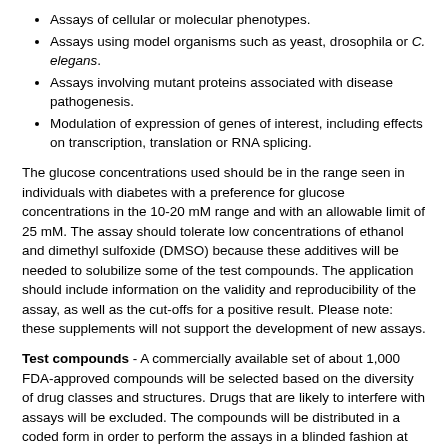Assays of cellular or molecular phenotypes.
Assays using model organisms such as yeast, drosophila or C. elegans.
Assays involving mutant proteins associated with disease pathogenesis.
Modulation of expression of genes of interest, including effects on transcription, translation or RNA splicing.
The glucose concentrations used should be in the range seen in individuals with diabetes with a preference for glucose concentrations in the 10-20 mM range and with an allowable limit of 25 mM. The assay should tolerate low concentrations of ethanol and dimethyl sulfoxide (DMSO) because these additives will be needed to solubilize some of the test compounds. The application should include information on the validity and reproducibility of the assay, as well as the cut-offs for a positive result. Please note: these supplements will not support the development of new assays.
Test compounds - A commercially available set of about 1,000 FDA-approved compounds will be selected based on the diversity of drug classes and structures. Drugs that are likely to interfere with assays will be excluded. The compounds will be distributed in a coded form in order to perform the assays in a blinded fashion at one set concentration.
Program organization – After the supplements are awarded, the investigators will receive the coded test compounds and have about six months to perform the assays on the compounds. Any positive result will need to be repeated and a dose/response curve generated. All data will be sent to a central database.
At the end of the supplemental project period (six months from the award